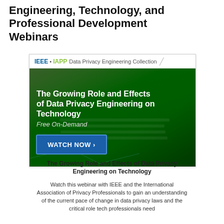Engineering, Technology, and Professional Development Webinars
[Figure (illustration): IEEE • IAPP Data Privacy Engineering Collection advertisement banner. Green background with keyboard image. Title: 'The Growing Role and Effects of Data Privacy Engineering on Technology'. Subtitle: 'Free On-Demand'. Blue 'WATCH NOW ›' button.]
The Growing Role and Effects of Data Privacy Engineering on Technology
Watch this webinar with IEEE and the International Association of Privacy Professionals to gain an understanding of the current pace of change in data privacy laws and the critical role tech professionals need